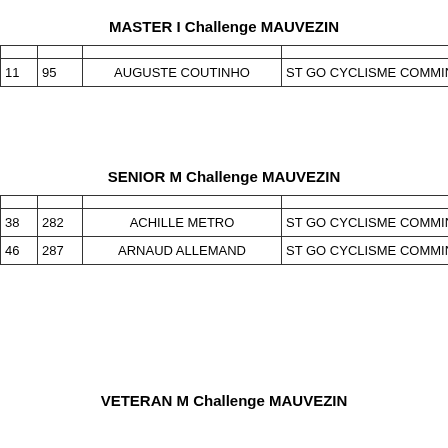MASTER I Challenge MAUVEZIN
|  |  | Name | Club |
| --- | --- | --- | --- |
| 11 | 95 | AUGUSTE COUTINHO | ST GO CYCLISME COMMIN |
SENIOR M Challenge MAUVEZIN
|  |  | Name | Club |
| --- | --- | --- | --- |
| 38 | 282 | ACHILLE METRO | ST GO CYCLISME COMMIN |
| 46 | 287 | ARNAUD ALLEMAND | ST GO CYCLISME COMMIN |
VETERAN M Challenge MAUVEZIN